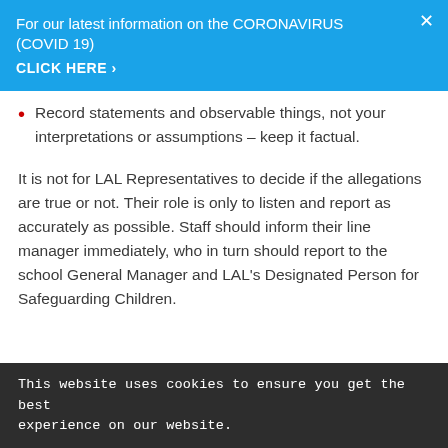For our latest information on the CORONAVIRUS (COVID 19)
CLICK HERE ›
Record statements and observable things, not your interpretations or assumptions – keep it factual.
It is not for LAL Representatives to decide if the allegations are true or not. Their role is only to listen and report as accurately as possible. Staff should inform their line manager immediately, who in turn should report to the school General Manager and LAL's Designated Person for Safeguarding Children.
This website uses cookies to ensure you get the best experience on our website.